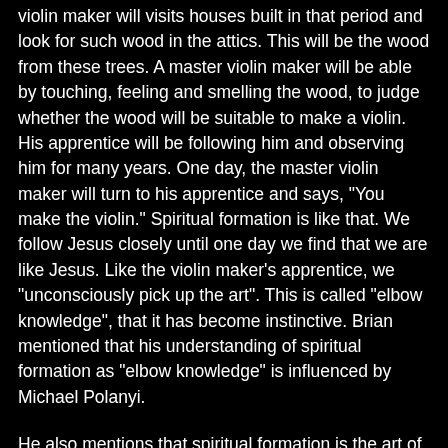violin maker will visits houses built in that period and look for such wood in the attics. This will be the wood from these trees. A master violin maker will be able by touching, feeling and smelling the wood, to judge whether the wood will be suitable to make a violin. His apprentice will be following him and observing him for many years. One day, the master violin maker will turn to his apprentice and says, "You make the violin." Spiritual formation is like that. We follow Jesus closely until one day we find that we are like Jesus. Like the violin maker's apprentice, we "unconsciously pick up the art". This is called "elbow knowledge", that it has become instinctive. Brian mentioned that his understanding of spiritual formation as "elbow knowledge" is influenced by Michael Polanyi.
He also mentions that spiritual formation is the art of loving in Jesus. This is especially important in a community where must be constant exposure of modelling and exposure to loving in Jesus.
I am impressed by Brian's stamina. After a 30 hours